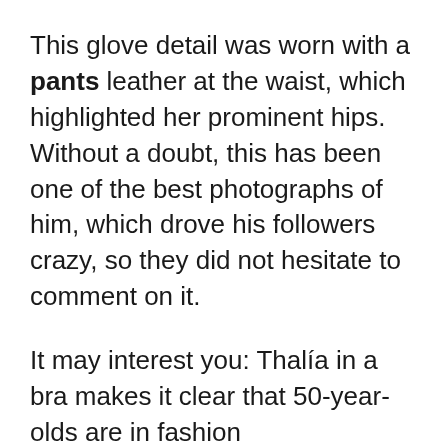This glove detail was worn with a pants leather at the waist, which highlighted her prominent hips. Without a doubt, this has been one of the best photographs of him, which drove his followers crazy, so they did not hesitate to comment on it.
It may interest you: Thalía in a bra makes it clear that 50-year-olds are in fashion
“Divine”, “for me you are the most beautiful”, “my number one”. andrea meza He also accompanied these photographs with an emotional message, “I AM IN THE 50 MOST BEAUTIFUL OF @PEOPLEENESPANOL. Thanks for making me part of this and And thanks to my team for tremendous photo!! What did you